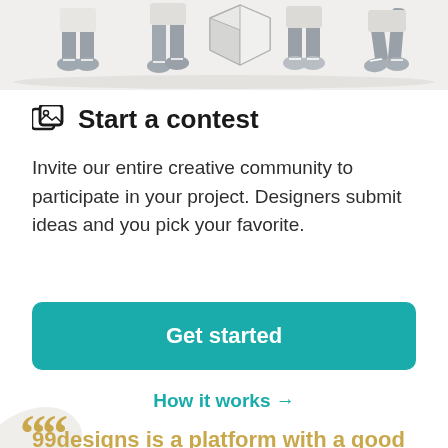[Figure (illustration): Bottom portion of illustrated figures of people standing, shown from waist down, with a geometric 3D shape in the center, on a light gray background.]
Start a contest
Invite our entire creative community to participate in your project. Designers submit ideas and you pick your favorite.
Get started
How it works →
99designs is a platform with a good